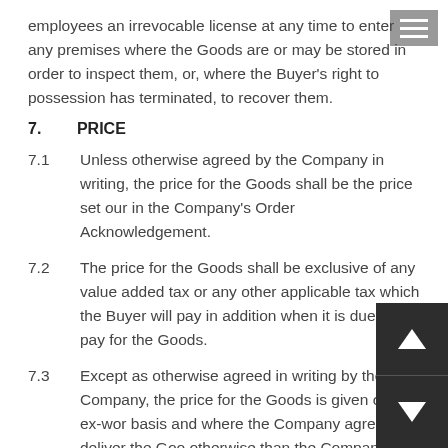employees an irrevocable license at any time to enter any premises where the Goods are or may be stored in order to inspect them, or, where the Buyer's right to possession has terminated, to recover them.
7.        PRICE
7.1        Unless otherwise agreed by the Company in writing, the price for the Goods shall be the price set our in the Company's Order Acknowledgement.
7.2        The price for the Goods shall be exclusive of any value added tax or any other applicable tax which the Buyer will pay in addition when it is due to pay for the Goods.
7.3        Except as otherwise agreed in writing by the Company, the price for the Goods is given on an ex-wor basis and where the Company agrees to deliver the Goo otherwise than the Company's premises, the Buyer shal be